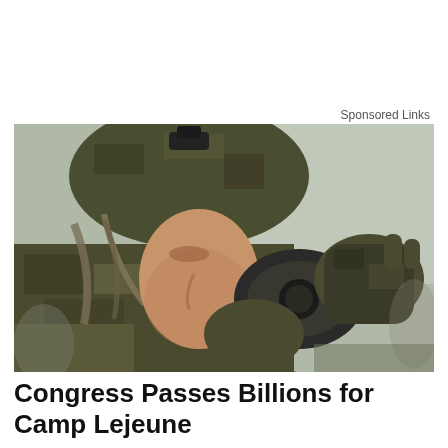Sponsored Links
[Figure (photo): A soldier in full camouflage uniform and tactical helmet drinking from a canteen or water container, shown in close profile view with a blurred outdoor background.]
Congress Passes Billions for Camp Lejeune Families